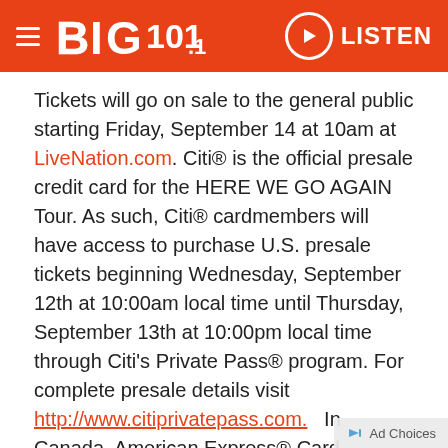BIG 101.1 — LISTEN
Tickets will go on sale to the general public starting Friday, September 14 at 10am at LiveNation.com. Citi® is the official presale credit card for the HERE WE GO AGAIN Tour. As such, Citi® cardmembers will have access to purchase U.S. presale tickets beginning Wednesday, September 12th at 10:00am local time until Thursday, September 13th at 10:00pm local time through Citi's Private Pass® program. For complete presale details visit http://www.citiprivatepass.com.  In Canada, American Express® Card Members can also purchase tickets before the general public beginning Wednesday, September 12th at 10:00am through Thursday, September 13th at 10:00pm.

Following the recent global success and